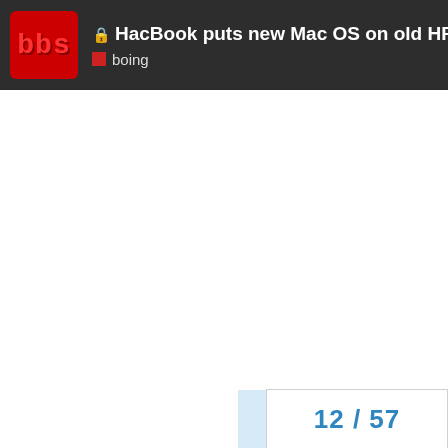HacBook puts new Mac OS on old HP lapt... | boing
12 / 57